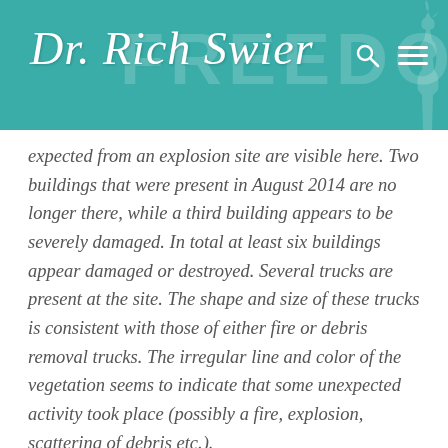Dr. Rich Swier
expected from an explosion site are visible here. Two buildings that were present in August 2014 are no longer there, while a third building appears to be severely damaged. In total at least six buildings appear damaged or destroyed. Several trucks are present at the site. The shape and size of these trucks is consistent with those of either fire or debris removal trucks. The irregular line and color of the vegetation seems to indicate that some unexpected activity took place (possibly a fire, explosion, scattering of debris etc.).